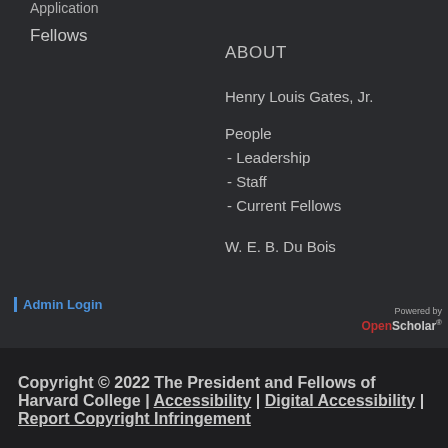Application
Fellows
ABOUT
Henry Louis Gates, Jr.
People
- Leadership
- Staff
- Current Fellows
W. E. B. Du Bois
Admin Login
Powered by OpenScholar ®
Copyright © 2022 The President and Fellows of Harvard College | Accessibility | Digital Accessibility | Report Copyright Infringement